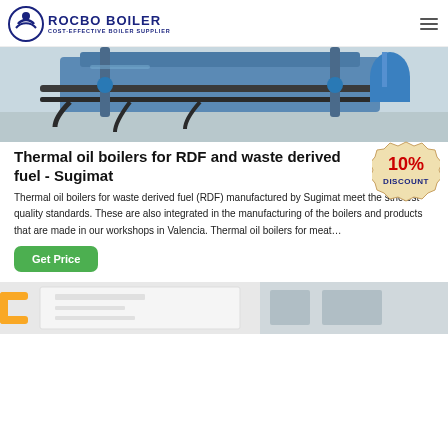ROCBO BOILER — COST-EFFECTIVE BOILER SUPPLIER
[Figure (photo): Industrial thermal oil boiler equipment with blue machinery, pipes, and fittings on a factory floor]
Thermal oil boilers for RDF and waste derived fuel - Sugimat
[Figure (infographic): 10% DISCOUNT badge/sticker in red and beige]
Thermal oil boilers for waste derived fuel (RDF) manufactured by Sugimat meet the strictest quality standards. These are also integrated in the manufacturing of the boilers and products that are made in our workshops in Valencia. Thermal oil boilers for meat…
[Figure (screenshot): Get Price green button]
[Figure (photo): Industrial equipment with yellow railing, partial view at bottom of page]